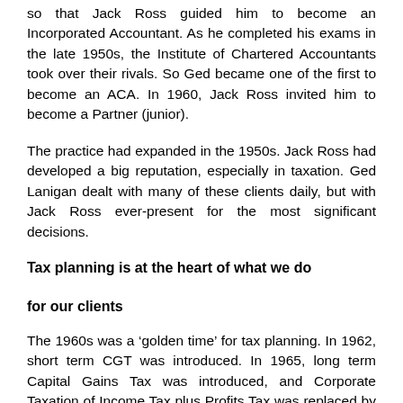so that Jack Ross guided him to become an Incorporated Accountant. As he completed his exams in the late 1950s, the Institute of Chartered Accountants took over their rivals. So Ged became one of the first to become an ACA. In 1960, Jack Ross invited him to become a Partner (junior).
The practice had expanded in the 1950s. Jack Ross had developed a big reputation, especially in taxation. Ged Lanigan dealt with many of these clients daily, but with Jack Ross ever-present for the most significant decisions.
Tax planning is at the heart of what we do

for our clients
The 1960s was a ‘golden time’ for tax planning. In 1962, short term CGT was introduced. In 1965, long term Capital Gains Tax was introduced, and Corporate Taxation of Income Tax plus Profits Tax was replaced by Corporation Tax.